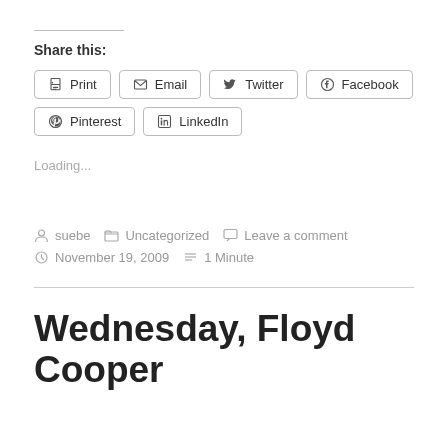Share this:
Print  Email  Twitter  Facebook  Pinterest  LinkedIn
Loading...
suebe   Uncategorized   Leave a comment   November 19, 2009   1 Minute
Wednesday, Floyd Cooper